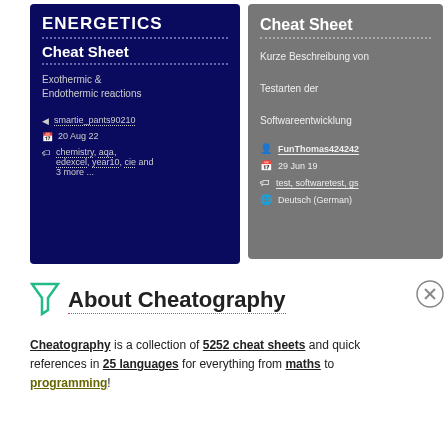[Figure (screenshot): Dark navy blue card for ENERGETICS Cheat Sheet on Exothermic & Endothermic reactions, by smartie_pants90210, dated 20 Aug 22, tags: chemistry, aqa, edexcel, year10, cie and 3 more]
[Figure (screenshot): Grey card titled Cheat Sheet with description: Kurze Beschreibung von Testarten der Softwareentwicklung, by FunThomas424242, dated 29 Jun 19, tags: test, softwaretest, gs, language: Deutsch (German)]
About Cheatography
Cheatography is a collection of 5252 cheat sheets and quick references in 25 languages for everything from maths to programming!